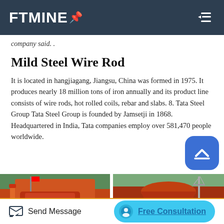FTMINE
company said. .
Mild Steel Wire Rod
It is located in hangjiagang, Jiangsu, China was formed in 1975. It produces nearly 18 million tons of iron annually and its product line consists of wire rods, hot rolled coils, rebar and slabs. 8. Tata Steel Group Tata Steel Group is founded by Jamsetji in 1868. Headquartered in India, Tata companies employ over 581,470 people worldwide.
[Figure (photo): Industrial mining/crushing equipment - orange conveyor and crusher machinery outdoors with trees in background]
[Figure (photo): Industrial mining/crushing equipment - orange cone crusher machinery outdoors]